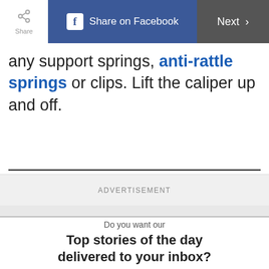Share | Share on Facebook | Next
any support springs, anti-rattle springs or clips. Lift the caliper up and off.
ADVERTISEMENT
Do you want our
Top stories of the day delivered to your inbox?
YES PLEASE!
NO THANKS